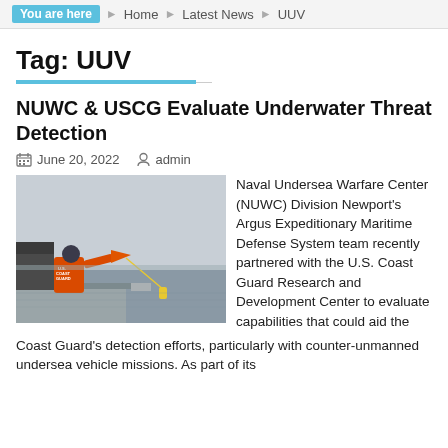You are here  Home  Latest News  UUV
Tag: UUV
NUWC & USCG Evaluate Underwater Threat Detection
June 20, 2022   admin
[Figure (photo): A U.S. Coast Guard member in orange jacket deploying equipment from a vessel on the water]
Naval Undersea Warfare Center (NUWC) Division Newport's Argus Expeditionary Maritime Defense System team recently partnered with the U.S. Coast Guard Research and Development Center to evaluate capabilities that could aid the Coast Guard's detection efforts, particularly with counter-unmanned undersea vehicle missions. As part of its